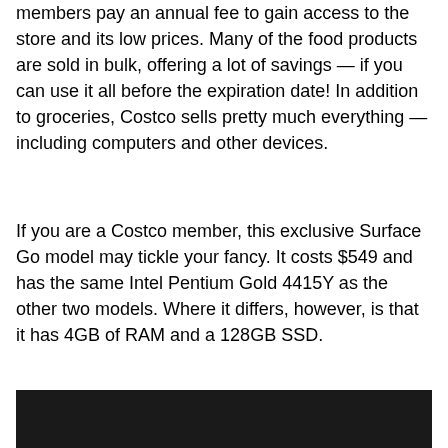members pay an annual fee to gain access to the store and its low prices. Many of the food products are sold in bulk, offering a lot of savings — if you can use it all before the expiration date! In addition to groceries, Costco sells pretty much everything — including computers and other devices.
If you are a Costco member, this exclusive Surface Go model may tickle your fancy. It costs $549 and has the same Intel Pentium Gold 4415Y as the other two models. Where it differs, however, is that it has 4GB of RAM and a 128GB SSD.
[Figure (photo): Dark/black image area at the bottom of the page]